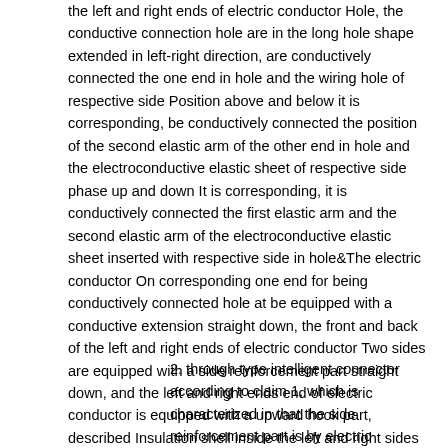the left and right ends of electric conductor Hole, the conductive connection hole are in the long hole shape extended in left-right direction, are conductively connected the one end in hole and the wiring hole of respective side Position above and below it is corresponding, be conductively connected the position of the second elastic arm of the other end in hole and the electroconductive elastic sheet of respective side phase up and down It is corresponding, it is conductively connected the first elastic arm and the second elastic arm of the electroconductive elastic sheet inserted with respective side in hole&The electric conductor On corresponding one end for being conductively connected hole at be equipped with a conductive extension straight down, the front and back of the left and right ends of electric conductor Two sides are equipped with a side reinforcement part straight down, and the left and right ends end of electric conductor is equipped with a upward hook part, described Insulation shell inside the left and right sides be equipped with card slot corresponding with the hook part of left and right ends end of electric conductor.
2. through type intelligent connector according to claim 1, which is characterized in that the side reinforcement part is by electric conductor Plate face bending is formed.